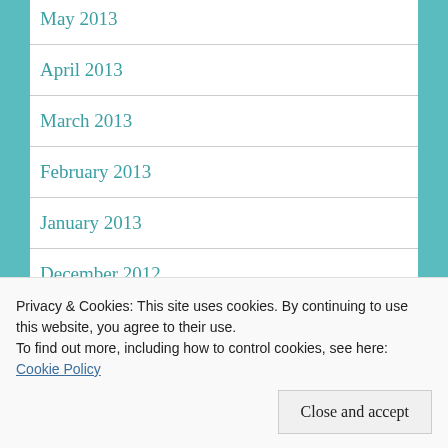May 2013
April 2013
March 2013
February 2013
January 2013
December 2012
November 2012
October 2012
Privacy & Cookies: This site uses cookies. By continuing to use this website, you agree to their use. To find out more, including how to control cookies, see here: Cookie Policy
Close and accept